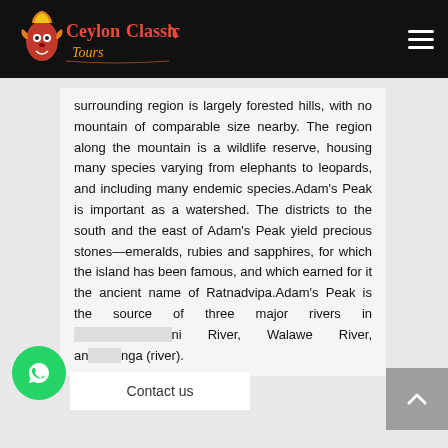Ceylon Classic Tours
surrounding region is largely forested hills, with no mountain of comparable size nearby. The region along the mountain is a wildlife reserve, housing many species varying from elephants to leopards, and including many endemic species.Adam's Peak is important as a watershed. The districts to the south and the east of Adam's Peak yield precious stones—emeralds, rubies and sapphires, for which the island has been famous, and which earned for it the ancient name of Ratnadvipa.Adam's Peak is the source of three major rivers in [...]ni River, Walawe River, an[...]nga (river).